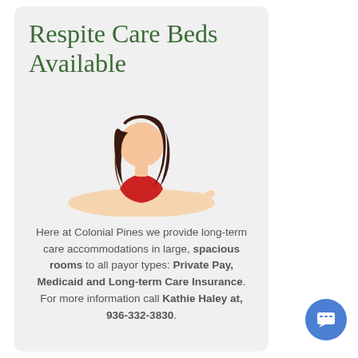Respite Care Beds Available
[Figure (illustration): Illustration of a woman with long dark hair wearing a red top, leaning forward with one arm extended and finger pointing]
Here at Colonial Pines we provide long-term care accommodations in large, spacious rooms to all payor types: Private Pay, Medicaid and Long-term Care Insurance. For more information call Kathie Haley at, 936-332-3830.